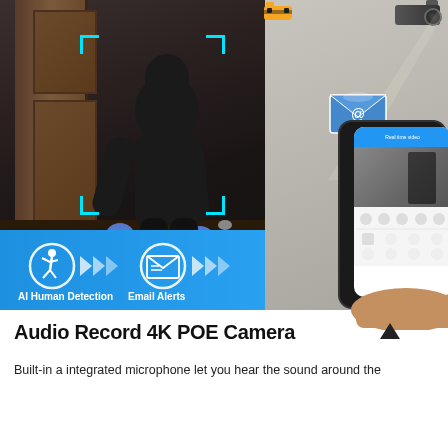[Figure (infographic): Security camera product infographic showing AI Human Detection and Email Alerts features. Left side: dark room with masked intruder detected by cyan corner detection box. Right side: grey wall with camera spotlight beam, floating email icon, arrow indicators, and a smartphone held in hand showing real-time camera feed. Blue banner at bottom with running person icon, chevrons, email icon, chevrons. Labels: AI Human Detection and Email Alerts. Top text overlay: Mobile phone receiving abnormal message.]
Audio Record 4K POE Camera
Built-in a integrated microphone let you hear the sound around the